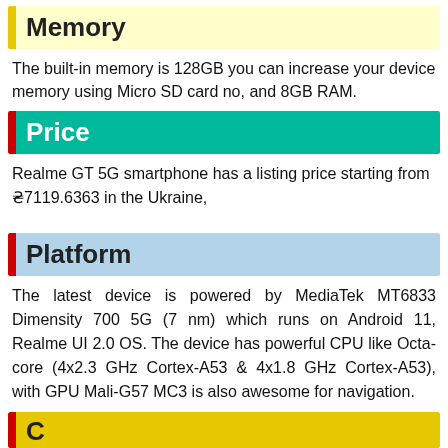Memory
The built-in memory is 128GB you can increase your device memory using Micro SD card no, and 8GB RAM.
Price
Realme GT 5G smartphone has a listing price starting from ₴7119.6363 in the Ukraine,
Platform
The latest device is powered by MediaTek MT6833 Dimensity 700 5G (7 nm) which runs on Android 11, Realme UI 2.0 OS. The device has powerful CPU like Octa-core (4x2.3 GHz Cortex-A53 & 4x1.8 GHz Cortex-A53), with GPU Mali-G57 MC3 is also awesome for navigation.
C...